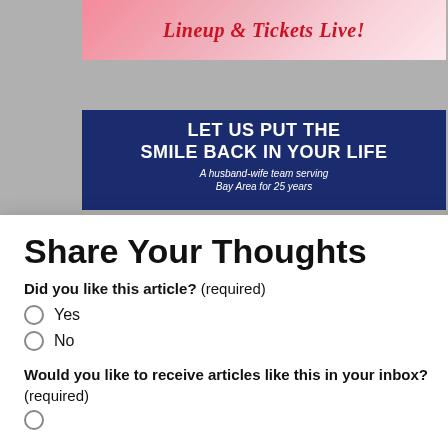[Figure (screenshot): Pink/red banner partially visible at top with italic bold red text: Lineup & Tickets Live!]
[Figure (screenshot): Dark blue advertisement banner with white bold text: LET US PUT THE SMILE BACK IN YOUR LIFE, and italic subtitle: A husband-wife team serving Bay Area for 25 years]
Share Your Thoughts
Did you like this article? (required)
Yes
No
Would you like to receive articles like this in your inbox? (required)